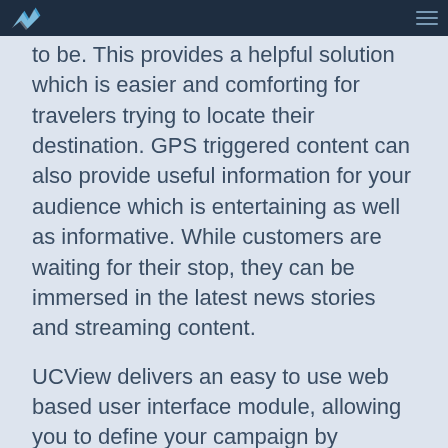UCView header bar
to be. This provides a helpful solution which is easier and comforting for travelers trying to locate their destination. GPS triggered content can also provide useful information for your audience which is entertaining as well as informative. While customers are waiting for their stop, they can be immersed in the latest news stories and streaming content.
UCView delivers an easy to use web based user interface module, allowing you to define your campaign by geographical location. Therefore the player will dynamically change the loops according the location of the vehicle. Additionally, GPS